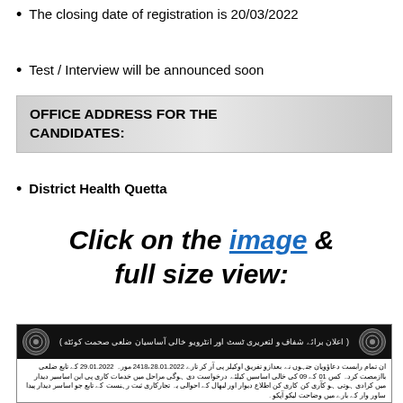The closing date of registration is 20/03/2022
Test / Interview will be announced soon
OFFICE ADDRESS FOR THE CANDIDATES:
District Health Quetta
Click on the image & full size view:
[Figure (other): Urdu language government job advertisement for District Health Quetta showing job positions, dates 28.01.2022 and 29.01.2022, reference number 2418, with logos and table rows for job details]